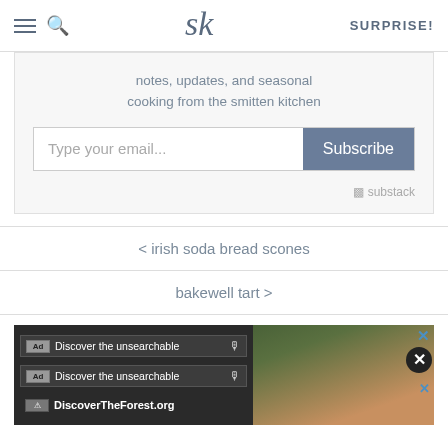SK — SURPRISE!
notes, updates, and seasonal cooking from the smitten kitchen
Type your email... Subscribe
substack
< irish soda bread scones
bakewell tart >
[Figure (screenshot): Advertisement banner: 'Discover the unsearchable' / DiscoverTheForest.org with forest background image and close buttons]